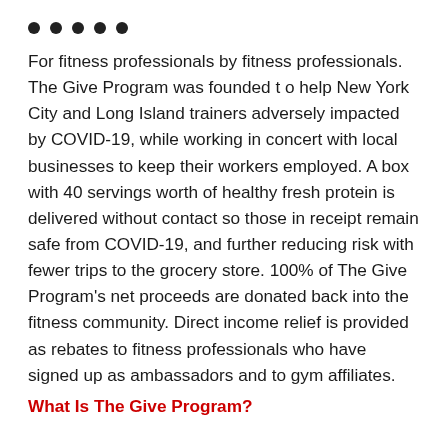• • • • •
For fitness professionals by fitness professionals. The Give Program was founded t o help New York City and Long Island trainers adversely impacted by COVID-19, while working in concert with local businesses to keep their workers employed. A box with 40 servings worth of healthy fresh protein is delivered without contact so those in receipt remain safe from COVID-19, and further reducing risk with fewer trips to the grocery store. 100% of The Give Program's net proceeds are donated back into the fitness community. Direct income relief is provided as rebates to fitness professionals who have signed up as ambassadors and to gym affiliates.
What Is The Give Program?